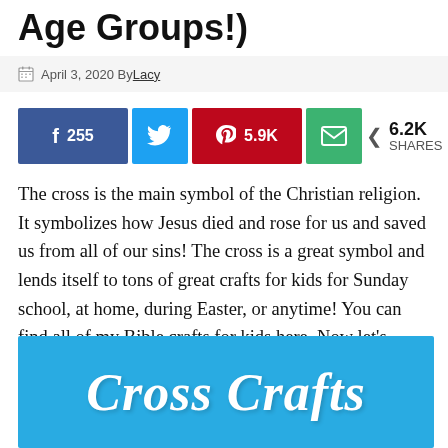Age Groups!)
April 3, 2020 By Lacy
[Figure (infographic): Social share buttons: Facebook 255, Twitter, Pinterest 5.9K, Email. Share count: 6.2K SHARES]
The cross is the main symbol of the Christian religion. It symbolizes how Jesus died and rose for us and saved us from all of our sins! The cross is a great symbol and lends itself to tons of great crafts for kids for Sunday school, at home, during Easter, or anytime! You can find all of my Bible crafts for kids here. Now let's check out these fun cross crafts for kids.
[Figure (illustration): Blue banner with white cursive text reading 'Cross Crafts']